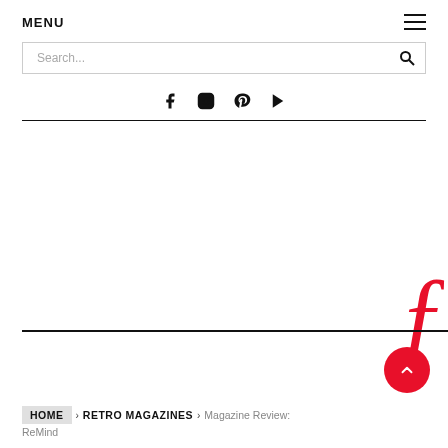MENU
[Figure (screenshot): Search bar with placeholder text 'Search...' and magnifying glass icon]
[Figure (infographic): Social media icons: Facebook, Instagram, Pinterest, YouTube]
[Figure (illustration): Partial red cursive/script logo letter visible at right edge]
HOME > RETRO MAGAZINES > Magazine Review: ReMind